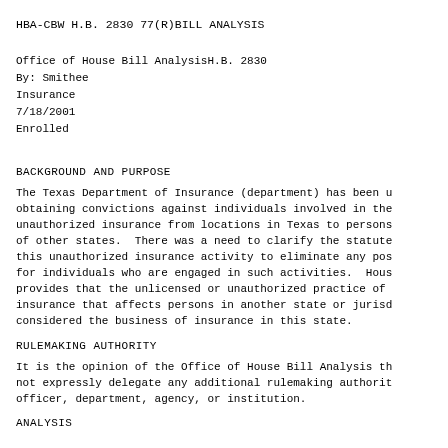HBA-CBW H.B. 2830 77(R)BILL ANALYSIS
Office of House Bill AnalysisH.B. 2830
By: Smithee
Insurance
7/18/2001
Enrolled
BACKGROUND AND PURPOSE
The Texas Department of Insurance (department) has been u obtaining convictions against individuals involved in the unauthorized insurance from locations in Texas to persons of other states.  There was a need to clarify the statute this unauthorized insurance activity to eliminate any pos for individuals who are engaged in such activities.  Hous provides that the unlicensed or unauthorized practice of insurance that affects persons in another state or jurisd considered the business of insurance in this state.
RULEMAKING AUTHORITY
It is the opinion of the Office of House Bill Analysis th not expressly delegate any additional rulemaking authorit officer, department, agency, or institution.
ANALYSIS